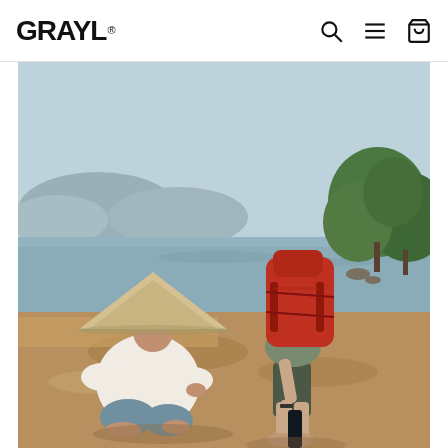GRAYL®
[Figure (photo): Two men crouching near a riverside in what appears to be Southeast Asia. One person wears a traditional Vietnamese conical hat and white clothing, squatting and watching. The other person, a backpacker with a large red hiking backpack, is bent over using a GRAYL water filter bottle to collect or filter water from the river bank. The background shows a calm river, green trees, and hazy mountains.]